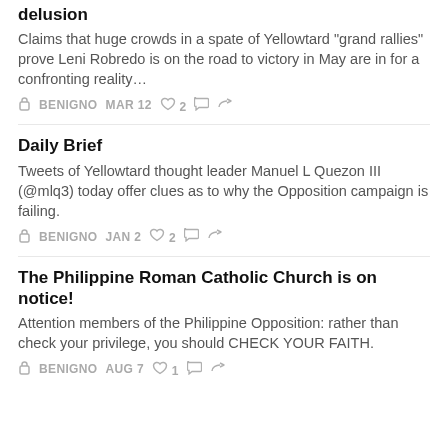delusion
Claims that huge crowds in a spate of Yellowtard "grand rallies" prove Leni Robredo is on the road to victory in May are in for a confronting reality…
BENIGNO   MAR 12   ♡ 2   ○   ↷
Daily Brief
Tweets of Yellowtard thought leader Manuel L Quezon III (@mlq3) today offer clues as to why the Opposition campaign is failing.
BENIGNO   JAN 2   ♡ 2   ○   ↷
The Philippine Roman Catholic Church is on notice!
Attention members of the Philippine Opposition: rather than check your privilege, you should CHECK YOUR FAITH.
BENIGNO   AUG 7   ♡ 1   ○   ↷